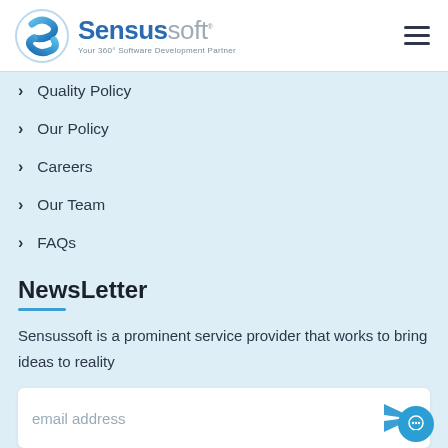[Figure (logo): Sensussoft logo with blue S icon and text 'Sensussoft — Your 360° Software Development Partner']
Quality Policy
Our Policy
Careers
Our Team
FAQs
NewsLetter
Sensussoft is a prominent service provider that works to bring ideas to reality